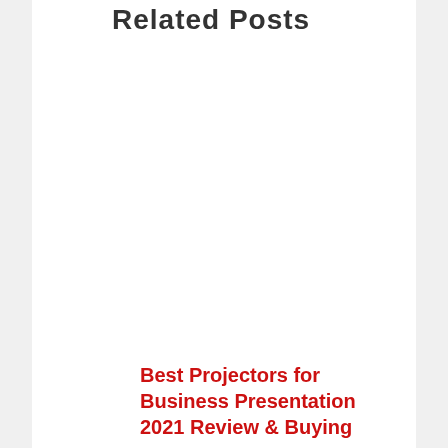Related Posts
Best Projectors for Business Presentation 2021 Review & Buying